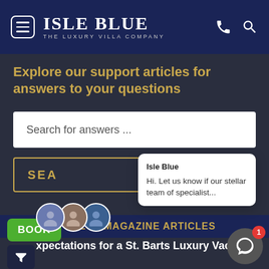[Figure (logo): Isle Blue – The Luxury Villa Company logo with hamburger menu, phone and search icons on dark navy header]
Explore our support articles for answers to your questions
Search for answers ...
SEA
Isle Blue
Hi. Let us know if our stellar team of specialist...
[Figure (photo): Three circular profile avatars grouped together]
BLUE MAGAZINE ARTICLES
xpectations for a St. Barts Luxury Vacation
BOOK
[Figure (other): Filter funnel icon button]